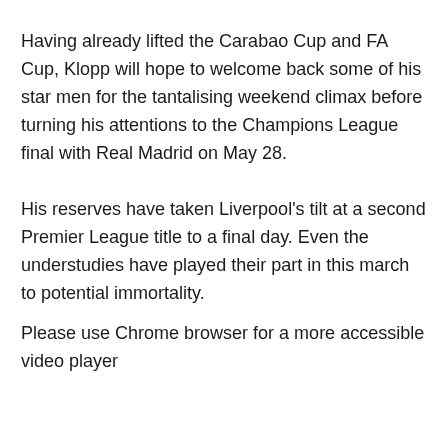Having already lifted the Carabao Cup and FA Cup, Klopp will hope to welcome back some of his star men for the tantalising weekend climax before turning his attentions to the Champions League final with Real Madrid on May 28.
His reserves have taken Liverpool's tilt at a second Premier League title to a final day. Even the understudies have played their part in this march to potential immortality.
Please use Chrome browser for a more accessible video player